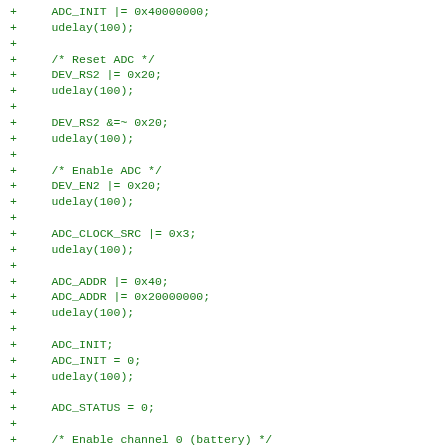+     ADC_INIT |= 0x40000000;
+     udelay(100);
+
+     /* Reset ADC */
+     DEV_RS2 |= 0x20;
+     udelay(100);
+
+     DEV_RS2 &=~ 0x20;
+     udelay(100);
+
+     /* Enable ADC */
+     DEV_EN2 |= 0x20;
+     udelay(100);
+
+     ADC_CLOCK_SRC |= 0x3;
+     udelay(100);
+
+     ADC_ADDR |= 0x40;
+     ADC_ADDR |= 0x20000000;
+     udelay(100);
+
+     ADC_INIT;
+     ADC_INIT = 0;
+     udelay(100);
+
+     ADC_STATUS = 0;
+
+     /* Enable channel 0 (battery) */
+     DEV_INIT1  &=~0x3;
+     ADC_ADDR   |= 0x1000000;